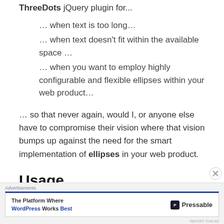ThreeDots jQuery plugin for...
… when text is too long…
… when text doesn't fit within the available space …
… when you want to employ highly configurable and flexible ellipses within your web product…
… so that never again, would I, or anyone else have to compromise their vision where that vision bumps up against the need for the smart implementation of ellipses in your web product.
Usage
Advertisements
The Platform Where WordPress Works Best — Pressable